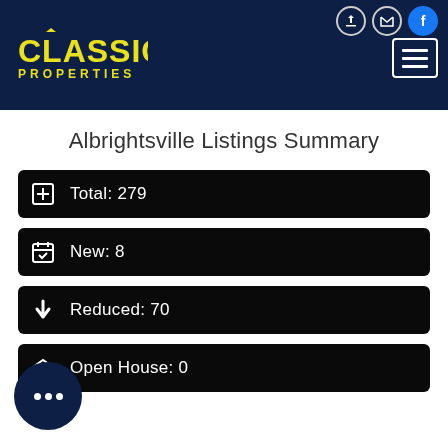[Figure (logo): Classic Properties logo with yellow text on dark navy header]
Albrightsville Listings Summary
Total: 279
New: 8
Reduced: 70
Open House: 0